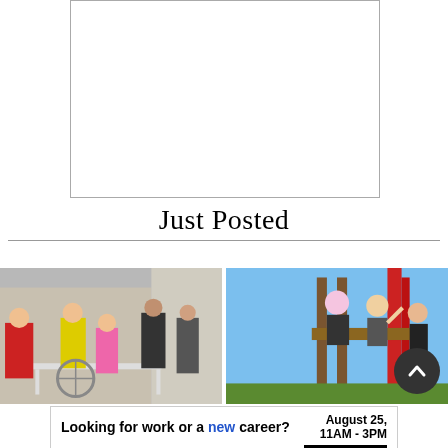[Figure (other): White empty box with border, placeholder image area]
Just Posted
[Figure (photo): Group of people standing outside near a table, one person in cycling gear]
[Figure (photo): Three girls on a playground structure waving and smiling]
Looking for work or a new career? Featuring 25+ Exhibitors and Growing! August 25, 11AM - 3PM CLICK HERE